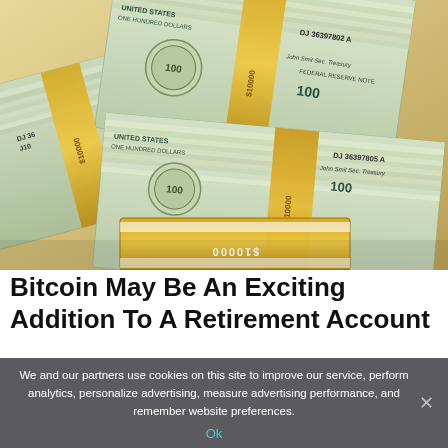[Figure (photo): Stacks of bundled $100 US dollar bills with gold/tan paper bands labeled '$10000', serial numbers DJ 36397802 A and DJ 36397805 A visible]
Bitcoin May Be An Exciting Addition To A Retirement Account
We and our partners use cookies on this site to improve our service, perform analytics, personalize advertising, measure advertising performance, and remember website preferences.
Ok